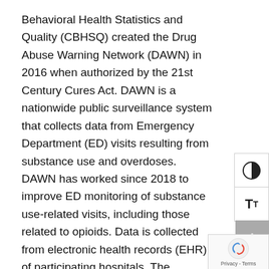Behavioral Health Statistics and Quality (CBHSQ) created the Drug Abuse Warning Network (DAWN) in 2016 when authorized by the 21st Century Cures Act. DAWN is a nationwide public surveillance system that collects data from Emergency Department (ED) visits resulting from substance use and overdoses. DAWN has worked since 2018 to improve ED monitoring of substance use-related visits, including those related to opioids. Data is collected from electronic health records (EHR) of participating hospitals. The intention of the data collected is to help SAMHSA, public health professionals, clinicians, and policy makers understand the landscape of opioid and substance use in the United States.
DAWN's key objectives include:
Monitoring demographic and geographic trends related to ED substance use visits